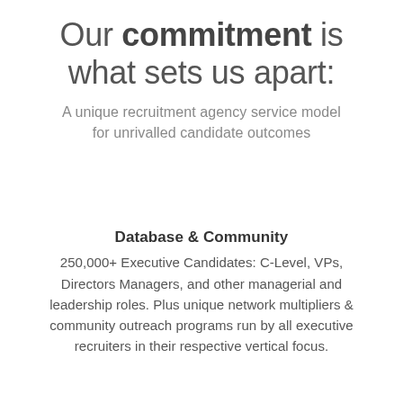Our commitment is what sets us apart:
A unique recruitment agency service model for unrivalled candidate outcomes
Database & Community
250,000+ Executive Candidates: C-Level, VPs, Directors Managers, and other managerial and leadership roles. Plus unique network multipliers & community outreach programs run by all executive recruiters in their respective vertical focus.